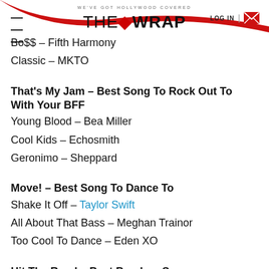WE'VE GOT HOLLYWOOD COVERED | THE WRAP | LOG IN
Bo$$ – Fifth Harmony
Classic – MKTO
That's My Jam – Best Song To Rock Out To With Your BFF
Young Blood – Bea Miller
Cool Kids – Echosmith
Geronimo – Sheppard
Move! – Best Song To Dance To
Shake It Off – Taylor Swift
All About That Bass – Meghan Trainor
Too Cool To Dance – Eden XO
Hit The Road – Best Breakup Song